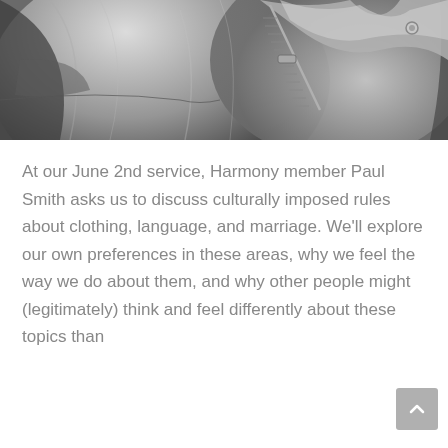[Figure (photo): Close-up black and white photograph of a leather jacket showing zipper detail, collar, and reflective leather texture.]
At our June 2nd service, Harmony member Paul Smith asks us to discuss culturally imposed rules about clothing, language, and marriage. We'll explore our own preferences in these areas, why we feel the way we do about them, and why other people might (legitimately) think and feel differently about these topics than